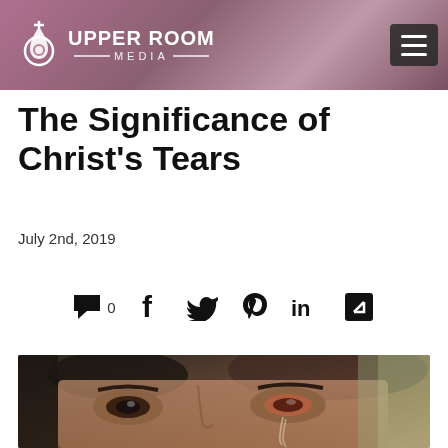UPPER ROOM MEDIA
The Significance of Christ's Tears
July 2nd, 2019
[Figure (infographic): Social sharing icons row: comment bubble with 0, Facebook f, Twitter bird, Pinterest P, LinkedIn in, external link/share icon]
[Figure (photo): Close-up painting of Jesus Christ's eyes with tears streaming down his face, classical art style]